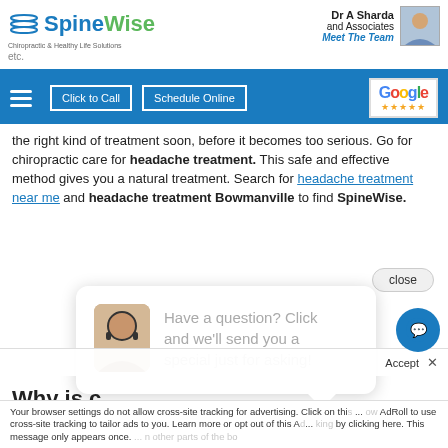[Figure (logo): SpineWise logo with tagline and Dr A Sharda and Associates with Meet The Team link and doctor photo]
[Figure (screenshot): Navigation bar with hamburger menu, Click to Call button, Schedule Online button, and Google rating widget]
the right kind of treatment soon, before it becomes too serious. Go for chiropractic care for headache treatment. This safe and effective method gives you a natural treatment. Search for headache treatment near me and headache treatment Bowmanville to find SpineWise.
[Figure (screenshot): Close button overlay]
[Figure (screenshot): Chat popup with avatar: Have a question? Click and we'll send you a special just for asking!]
Why is c... migraine...
Dr Amit Sharda says that chiropractic care is not just helpful for migraine treatment. It treats other kinds of he...
Your browser settings do not allow cross-site tracking for advertising. Click on this ... AdRoll to use cross-site tracking to tailor ads to you. Learn more or opt out of this A... king by clicking here. This message only appears once.